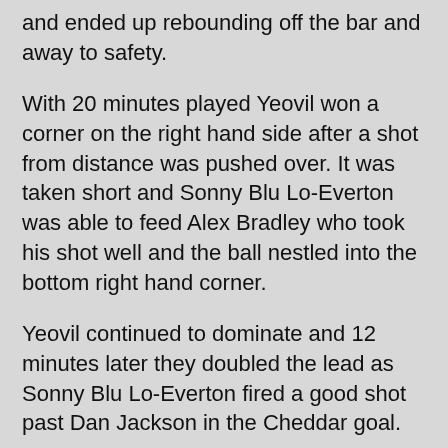and ended up rebounding off the bar and away to safety.
With 20 minutes played Yeovil won a corner on the right hand side after a shot from distance was pushed over. It was taken short and Sonny Blu Lo-Everton was able to feed Alex Bradley who took his shot well and the ball nestled into the bottom right hand corner.
Yeovil continued to dominate and 12 minutes later they doubled the lead as Sonny Blu Lo-Everton fired a good shot past Dan Jackson in the Cheddar goal.
Two minutes later Lo-Everton almost grabbed Towns third as a shot from distance had to be tipped over the bar. The resulting corner was defended with ease.
With six minutes to go until half time it was looking likely that Yeovil would find another goal and it almost came from Alex Bradley as his curling shot was well